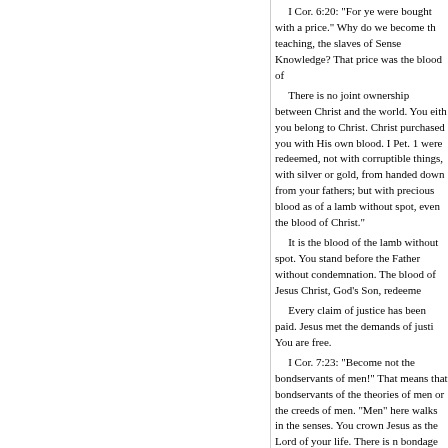I Cor. 6:20: “For ye were bought with a price.” Why do we become the teaching, the slaves of Sense Knowledge? That price was the blood of There is no joint ownership between Christ and the world. You eith you belong to Christ. Christ purchased you with His own blood. I Pet. 1 were redeemed, not with corruptible things, with silver or gold, from handed down from your fathers; but with precious blood as of a lamb without spot, even the blood of Christ.” It is the blood of the lamb without spot. You stand before the Father without condemnation. The blood of Jesus Christ, God’s Son, redeeme Every claim of justice has been paid. Jesus met the demands of justi You are free. I Cor. 7:23: “Become not the bondservants of men!” That means that bondservants of the theories of men or the creeds of men. “Men” here walks in the senses. You crown Jesus as the Lord of your life. There is n bondage of love. John 8:36: “If therefore the son shall make you free, ye shall be free i from Satan’s dominion. You are a New Creation, a child of God. You ha the hand of your enemy. You are to take this fact seriously. You are to o Romans 6:14: “Sin shall not have dominion over you.” Satan was de That defeat stripped him of his ability to take you captive without you The two phases of Christ’s ministry in Redemption are: Jesus paying Redemption, and defeating your enemy and setting you free. Col. 2:15: “Having despoiled the principalities and the powers, he m openly, triumphing over them in it!” He triumphed over the adversar His triumph was your triumph. That battle was your battle. He was ne Hebrews 2:14: “Since then the children are sharers in flesh and blo manner partook of the same; that through death he might bring to no power of death, that is the devil.” He set you free. You are free. You are Himself.